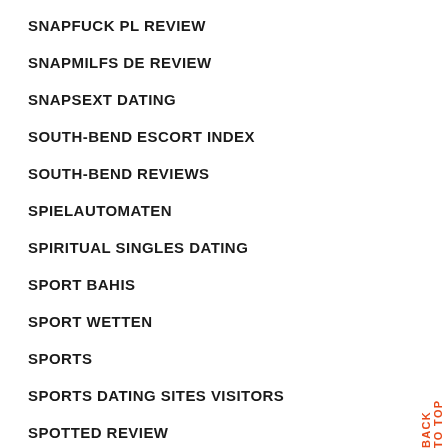SNAPFUCK PL REVIEW
SNAPMILFS DE REVIEW
SNAPSEXT DATING
SOUTH-BEND ESCORT INDEX
SOUTH-BEND REVIEWS
SPIELAUTOMATEN
SPIRITUAL SINGLES DATING
SPORT BAHIS
SPORT WETTEN
SPORTS
SPORTS DATING SITES VISITORS
SPOTTED REVIEW
SPRINGFIELD-1 REVIEWS
BACK TO TOP